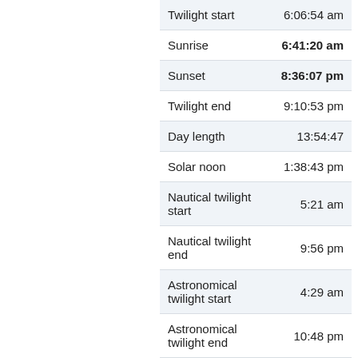| Event | Time |
| --- | --- |
| Twilight start | 6:06:54 am |
| Sunrise | 6:41:20 am |
| Sunset | 8:36:07 pm |
| Twilight end | 9:10:53 pm |
| Day length | 13:54:47 |
| Solar noon | 1:38:43 pm |
| Nautical twilight start | 5:21 am |
| Nautical twilight end | 9:56 pm |
| Astronomical twilight start | 4:29 am |
| Astronomical twilight end | 10:48 pm |